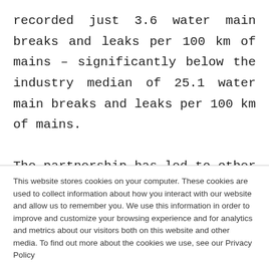recorded just 3.6 water main breaks and leaks per 100 km of mains – significantly below the industry median of 25.1 water main breaks and leaks per 100 km of mains. The partnership has led to other benefits, with Unitywater's average repair time for leaks being cut from 11
This website stores cookies on your computer. These cookies are used to collect information about how you interact with our website and allow us to remember you. We use this information in order to improve and customize your browsing experience and for analytics and metrics about our visitors both on this website and other media. To find out more about the cookies we use, see our Privacy Policy